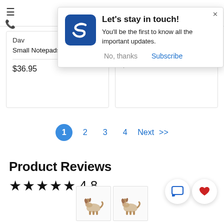[Figure (screenshot): Browser top bar with hamburger menu icon and phone icon on left side]
[Figure (screenshot): Popup notification dialog with blue logo 'S', title 'Let's stay in touch!', body text 'You'll be the first to know all the important updates.', and buttons 'No, thanks' and 'Subscribe']
Dav
Small Notepads
$36.95
$34.95
1  2  3  4  Next  >>
Product Reviews
★★★★★ 4.8
[Figure (photo): Small dog/spaniel thumbnail image (appears twice side by side)]